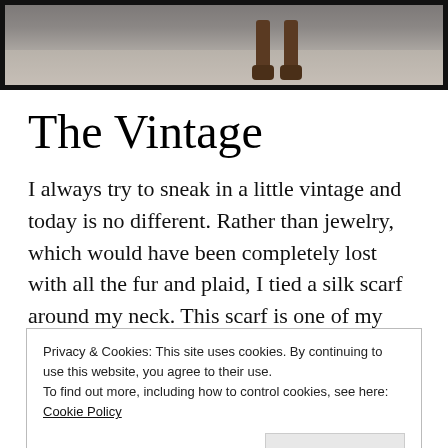[Figure (photo): Top portion of a photo showing a person's boots/legs on a gravel path, with dark border frame]
The Vintage
I always try to sneak in a little vintage and today is no different. Rather than jewelry, which would have been completely lost with all the fur and plaid, I tied a silk scarf around my neck. This scarf is one of my vintage Poodle scarfs that I have collected. If you didn't know, we have three
Privacy & Cookies: This site uses cookies. By continuing to use this website, you agree to their use.
To find out more, including how to control cookies, see here: Cookie Policy
Close and accept
the same as added detail because and I